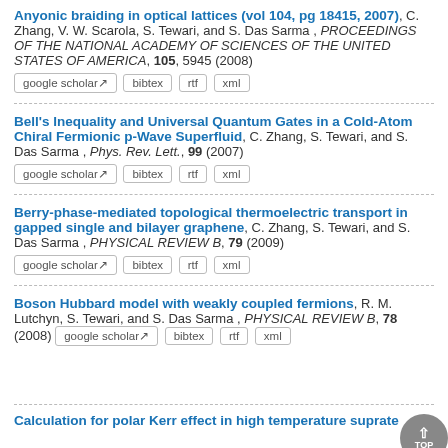Anyonic braiding in optical lattices (vol 104, pg 18415, 2007), C. Zhang, V. W. Scarola, S. Tewari, and S. Das Sarma, PROCEEDINGS OF THE NATIONAL ACADEMY OF SCIENCES OF THE UNITED STATES OF AMERICA, 105, 5945 (2008)
Bell's Inequality and Universal Quantum Gates in a Cold-Atom Chiral Fermionic p-Wave Superfluid, C. Zhang, S. Tewari, and S. Das Sarma, Phys. Rev. Lett., 99 (2007)
Berry-phase-mediated topological thermoelectric transport in gapped single and bilayer graphene, C. Zhang, S. Tewari, and S. Das Sarma, PHYSICAL REVIEW B, 79 (2009)
Boson Hubbard model with weakly coupled fermions, R. M. Lutchyn, S. Tewari, and S. Das Sarma, PHYSICAL REVIEW B, 78 (2008)
Calculation for polar Kerr effect in high temperature suprate...